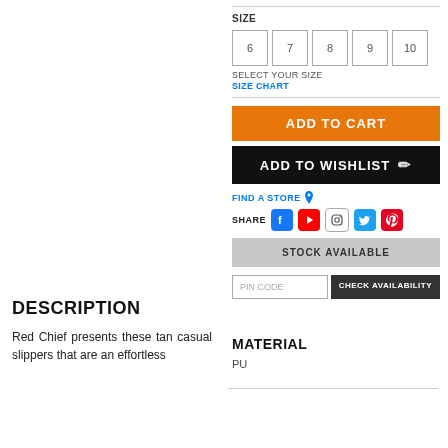SIZE
6
7
8
9
10
SELECT YOUR SIZE
SIZE CHART
ADD TO CART
ADD TO WISHLIST
FIND A STORE
SHARE
STOCK AVAILABLE
PIN CODE
CHECK AVAILABILITY
DESCRIPTION
Red Chief presents these tan casual slippers that are an effortless
MATERIAL
PU